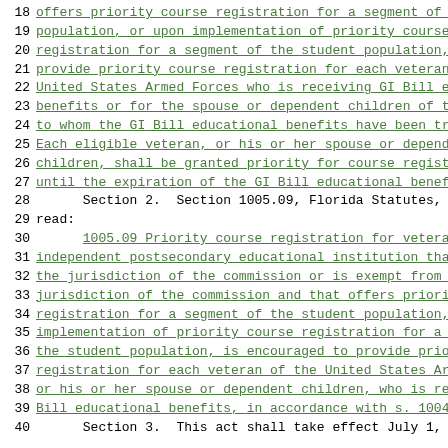18   offers priority course registration for a segment of t
19   population, or upon implementation of priority course
20   registration for a segment of the student population,
21   provide priority course registration for each veteran
22   United States Armed Forces who is receiving GI Bill ed
23   benefits or for the spouse or dependent children of th
24   to whom the GI Bill educational benefits have been tra
25   Each eligible veteran, or his or her spouse or depende
26   children, shall be granted priority for course registr
27   until the expiration of the GI Bill educational benefi
28        Section 2.  Section 1005.09, Florida Statutes, i
29   read:
30        1005.09  Priority course registration for vetera
31   independent postsecondary educational institution that
32   the jurisdiction of the commission or is exempt from t
33   jurisdiction of the commission and that offers priorit
34   registration for a segment of the student population,
35   implementation of priority course registration for a s
36   the student population, is encouraged to provide prior
37   registration for each veteran of the United States Arm
38   or his or her spouse or dependent children, who is rec
39   Bill educational benefits, in accordance with s. 1004.
40        Section 3.  This act shall take effect July 1, 2